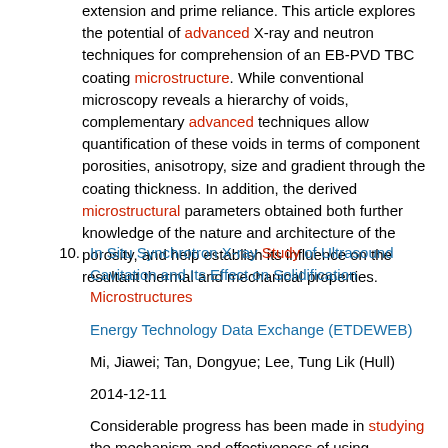extension and prime reliance. This article explores the potential of advanced X-ray and neutron techniques for comprehension of an EB-PVD TBC coating microstructure. While conventional microscopy reveals a hierarchy of voids, complementary advanced techniques allow quantification of these voids in terms of component porosities, anisotropy, size and gradient through the coating thickness. In addition, the derived microstructural parameters obtained both further knowledge of the nature and architecture of the porosity, and help establish its influence on the resultant thermal and mechanical properties.
10. In Situ Synchrotron X-ray Study of Ultrasound Cavitation and Its Effect on Solidification Microstructures
Energy Technology Data Exchange (ETDEWEB)
Mi, Jiawei; Tan, Dongyue; Lee, Tung Lik (Hull)
2014-12-11
Considerable progress has been made in studying the mechanism and effectiveness of using ultrasound waves to manipulate the solidification microstructures of metallic alloys. However, uncertainties remain in both the underlying physics of